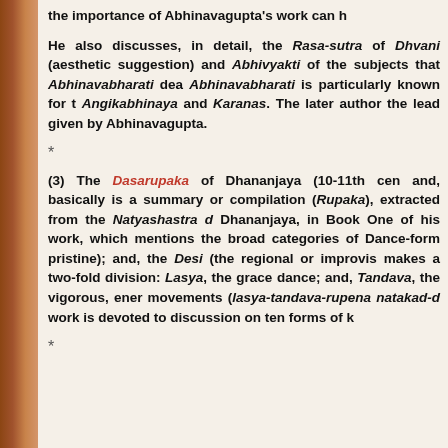the importance of Abhinavagupta's work can h
He also discusses, in detail, the Rasa-sutra of Dhvani (aesthetic suggestion) and Abhivyakti of the subjects that Abhinavabharati dea Abhinavabharati is particularly known for t Angikabhinaya and Karanas. The later author the lead given by Abhinavagupta.
*
(3) The Dasarupaka of Dhananjaya (10-11th cen and, basically is a summary or compilation (Rupaka), extracted from the Natyashastra d Dhananjaya, in Book One of his work, which mentions the broad categories of Dance-form pristine); and, the Desi (the regional or improvis makes a two-fold division: Lasya, the grace dance; and, Tandava, the vigorous, ener movements (lasya-tandava-rupena natakad-d work is devoted to discussion on ten forms of k
*